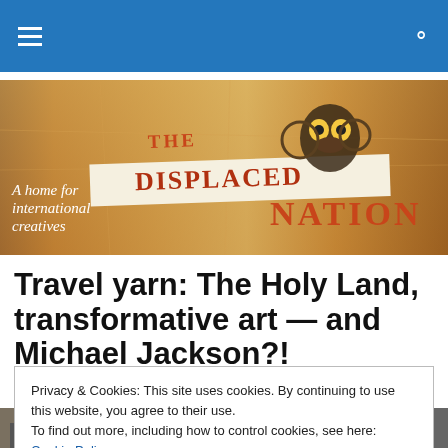Navigation bar with hamburger menu and search icon
[Figure (illustration): Banner image for 'The Displaced Nation' website with vintage map background and decorative owl figure. Text reads 'THE DISPLACED NATION' large, with tagline 'A home for international creatives' on the left side.]
Travel yarn: The Holy Land, transformative art — and Michael Jackson?!
Privacy & Cookies: This site uses cookies. By continuing to use this website, you agree to their use.
To find out more, including how to control cookies, see here: Cookie Policy
Close and accept
[Figure (photo): Partial bottom image strip showing a city scene]